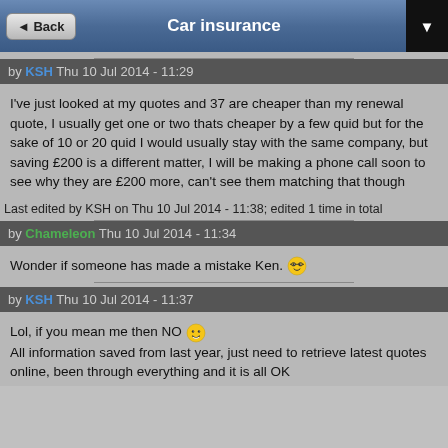Car insurance
by KSH Thu 10 Jul 2014 - 11:29
I've just looked at my quotes and 37 are cheaper than my renewal quote, I usually get one or two thats cheaper by a few quid but for the sake of 10 or 20 quid I would usually stay with the same company, but saving £200 is a different matter, I will be making a phone call soon to see why they are £200 more, can't see them matching that though
Last edited by KSH on Thu 10 Jul 2014 - 11:38; edited 1 time in total
by Chameleon Thu 10 Jul 2014 - 11:34
Wonder if someone has made a mistake Ken. 😎
by KSH Thu 10 Jul 2014 - 11:37
Lol, if you mean me then NO 😊 All information saved from last year, just need to retrieve latest quotes online, been through everything and it is all OK